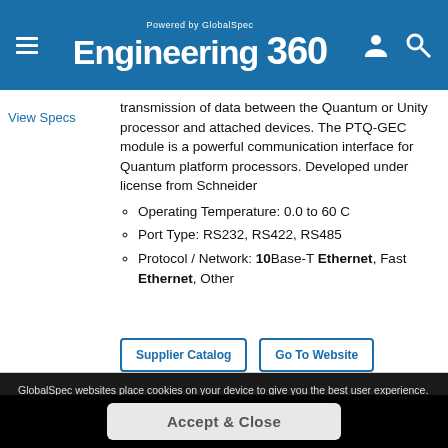Powered by GlobalSpec Engineering 360
View Specs
transmission of data between the Quantum or Unity processor and attached devices. The PTQ-GEC module is a powerful communication interface for Quantum platform processors. Developed under license from Schneider
Operating Temperature: 0.0 to 60 C
Port Type: RS232, RS422, RS485
Protocol / Network: 10Base-T Ethernet, Fast Ethernet, Other
Supplier Catalog  Go To Website
GlobalSpec websites place cookies on your device to give you the best user experience. By using our websites, you agree to the placement of these cookies. To learn more, read our Privacy Policy
Accept & Close